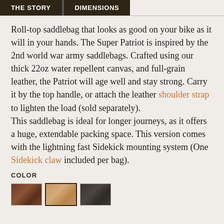THE STORY | DIMENSIONS
Roll-top saddlebag that looks as good on your bike as it will in your hands. The Super Patriot is inspired by the 2nd world war army saddlebags. Crafted using our thick 22oz water repellent canvas, and full-grain leather, the Patriot will age well and stay strong. Carry it by the top handle, or attach the leather shoulder strap to lighten the load (sold separately).
This saddlebag is ideal for longer journeys, as it offers a huge, extendable packing space. This version comes with the lightning fast Sidekick mounting system (One Sidekick claw included per bag).
COLOR
[Figure (photo): Three color swatches showing available bag colors: dark brown, tan/light brown (selected), and dark charcoal/black]